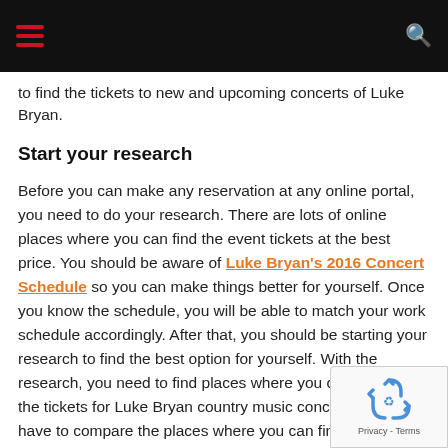Navigation bar with hamburger menu and search icon
to find the tickets to new and upcoming concerts of Luke Bryan.
Start your research
Before you can make any reservation at any online portal, you need to do your research. There are lots of online places where you can find the event tickets at the best price. You should be aware of Luke Bryan's 2016 Concert Schedule so you can make things better for yourself. Once you know the schedule, you will be able to match your work schedule accordingly. After that, you should be starting your research to find the best option for yourself. With the research, you need to find places where you can purchase the tickets for Luke Bryan country music concert. You will have to compare the places where you can find the tickets and then you will have to pick the place that is best for you.
[Figure (other): reCAPTCHA widget overlay in the bottom right corner showing a recycling arrows icon and 'Privacy - Terms' text]